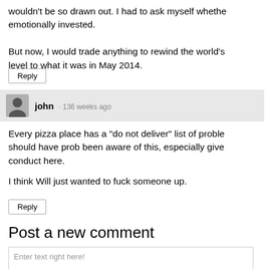wouldn't be so drawn out. I had to ask myself whether emotionally invested.
But now, I would trade anything to rewind the world's level to what it was in May 2014.
Reply
john · 136 weeks ago
Every pizza place has a "do not deliver" list of proble should have prob been aware of this, especially give conduct here.
I think Will just wanted to fuck someone up.
Reply
Post a new comment
Enter text right here!